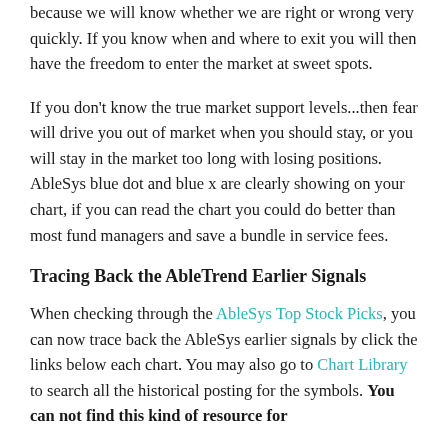because we will know whether we are right or wrong very quickly. If you know when and where to exit you will then have the freedom to enter the market at sweet spots.
If you don't know the true market support levels...then fear will drive you out of market when you should stay, or you will stay in the market too long with losing positions. AbleSys blue dot and blue x are clearly showing on your chart, if you can read the chart you could do better than most fund managers and save a bundle in service fees.
Tracing Back the AbleTrend Earlier Signals
When checking through the AbleSys Top Stock Picks, you can now trace back the AbleSys earlier signals by click the links below each chart. You may also go to Chart Library to search all the historical posting for the symbols. You can not find this kind of resource for